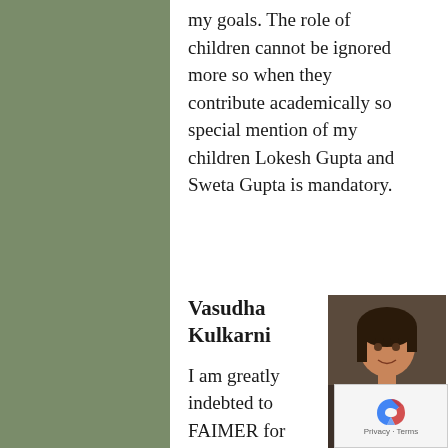my goals. The role of children cannot be ignored more so when they contribute academically so special mention of my children Lokesh Gupta and Sweta Gupta is mandatory.
Vasudha Kulkarni
[Figure (photo): Portrait photo of Vasudha Kulkarni, a woman wearing a white and yellow outfit, looking at the camera]
I am greatly indebted to FAIMER for having chosen me as